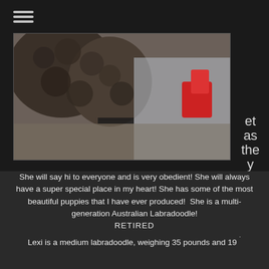[Figure (photo): Photo of a curly-haired dog (labradoodle) outdoors with a child holding red objects, partially cropped]
et as they come!
She will say hi to everyone and is very obedient! She will always have a super special place in my heart! She has some of the most beautiful puppies that I have ever produced! She is a multi-generation Australian Labradoodle!
RETIRED
Lexi is a medium labradoodle, weighing 35 pounds and 19 ˙